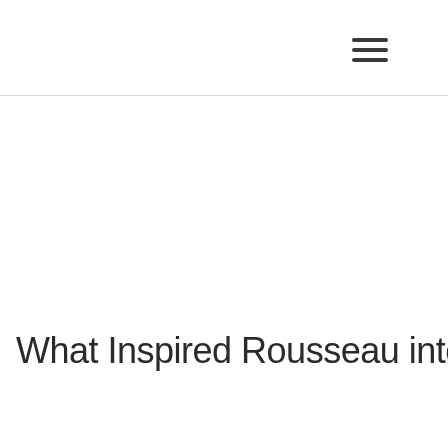hamburger menu icon
What Inspired Rousseau into